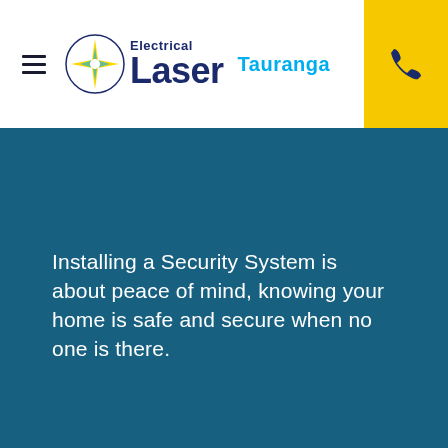Laser Electrical Tauranga
Installing a Security System is about peace of mind, knowing your home is safe and secure when no one is there.